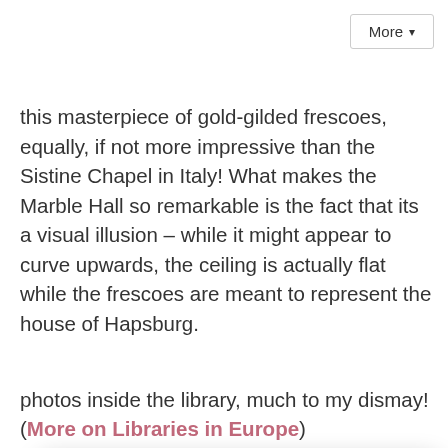More ▾
this masterpiece of gold-gilded frescoes, equally, if not more impressive than the Sistine Chapel in Italy! What makes the Marble Hall so remarkable is the fact that its a visual illusion – while it might appear to curve upwards, the ceiling is actually flat while the frescoes are meant to represent the house of Hapsburg.
[Figure (screenshot): Social media follow popup with title 'Follow me on:' showing icons for Facebook, Instagram, Pinterest, Twitter, Bloglovin, and RSS feed. Below that text reads 'Or sign up to my newsletter' with a Subscribe email input and Sign Up! button.]
photos inside the library, much to my dismay! (More on Libraries in Europe)